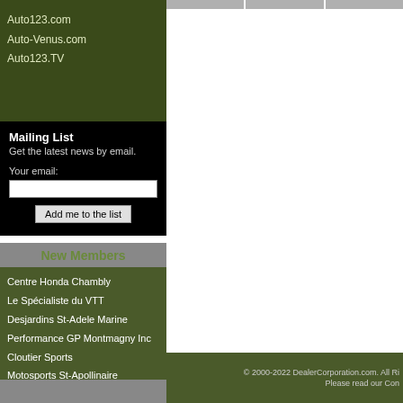Auto123.com
Auto-Venus.com
Auto123.TV
Mailing List
Get the latest news by email.
Your email:
New Members
Centre Honda Chambly
Le Spécialiste du VTT
Desjardins St-Adele Marine
Performance GP Montmagny Inc
Cloutier Sports
Motosports St-Apollinaire
© 2000-2022 DealerCorporation.com. All Ri
Please read our Con